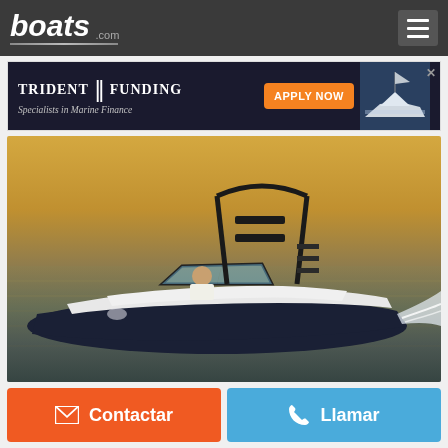boats.com
[Figure (photo): Trident Funding marine finance advertisement banner with Apply Now button and boat image]
[Figure (photo): White and dark blue speedboat with tower/arch structure speeding on golden-hued water with a person driving]
Contactar
Llamar